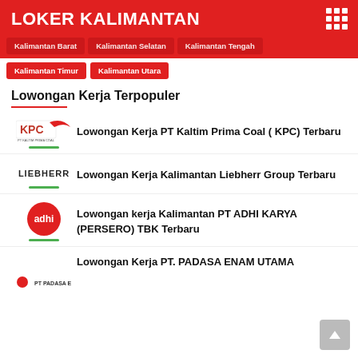LOKER KALIMANTAN
Kalimantan Barat
Kalimantan Selatan
Kalimantan Tengah
Kalimantan Timur
Kalimantan Utara
Lowongan Kerja Terpopuler
Lowongan Kerja PT Kaltim Prima Coal ( KPC) Terbaru
Lowongan Kerja Kalimantan Liebherr Group Terbaru
Lowongan kerja Kalimantan PT ADHI KARYA (PERSERO) TBK Terbaru
Lowongan Kerja PT. PADASA ENAM UTAMA